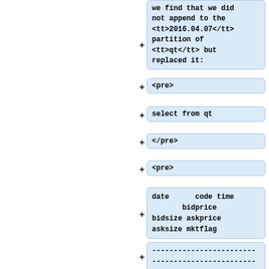we find that we did not append to the <tt>2016.04.07</tt> partition of <tt>qt</tt> but replaced it:
<pre>
select from qt
</pre>
<pre>
date      code time
       bidprice
bidsize askprice
asksize mktflag
------------------------
------------------------
------------------------